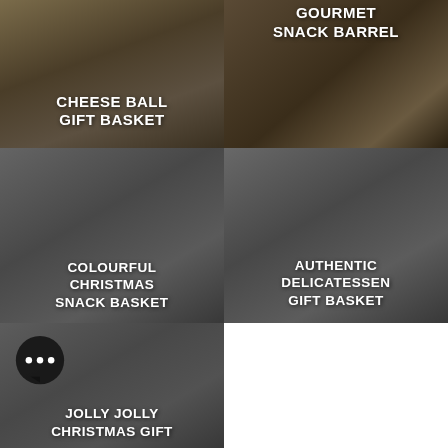[Figure (photo): Gift basket with cheese ball, wine bottle, chocolates and greenery on a wooden board]
CHEESE BALL GIFT BASKET
[Figure (photo): Gourmet snack barrel with charcuterie items, cheese, salami on a wooden board]
GOURMET SNACK BARREL
[Figure (photo): Colourful Christmas snack basket with chips, crackers, jams and holiday treats in a wooden crate]
COLOURFUL CHRISTMAS SNACK BASKET
[Figure (photo): Authentic delicatessen gift basket with wine bottles, salami, cheese, and knives on a dark cutting board]
AUTHENTIC DELICATESSEN GIFT BASKET
[Figure (photo): Jolly Jolly Christmas gift basket with potato chips and holiday snacks, with a chat bubble icon overlay]
JOLLY JOLLY CHRISTMAS GIFT